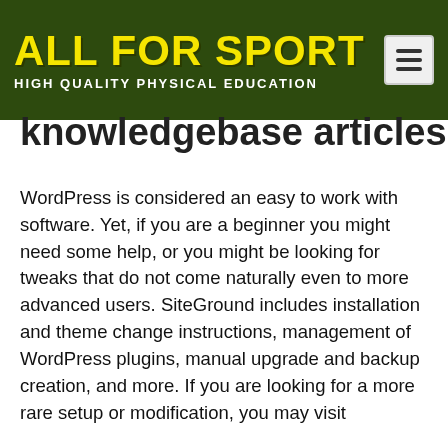[Figure (logo): All For Sport logo with yellow bold text on dark green background, subtitle: HIGH QUALITY PHYSICAL EDUCATION]
knowledgebase articles
WordPress is considered an easy to work with software. Yet, if you are a beginner you might need some help, or you might be looking for tweaks that do not come naturally even to more advanced users. SiteGround includes installation and theme change instructions, management of WordPress plugins, manual upgrade and backup creation, and more. If you are looking for a more rare setup or modification, you may visit
.
SiteGround experts not only develop various solutions for WordPress sites, but also create unique designs that you